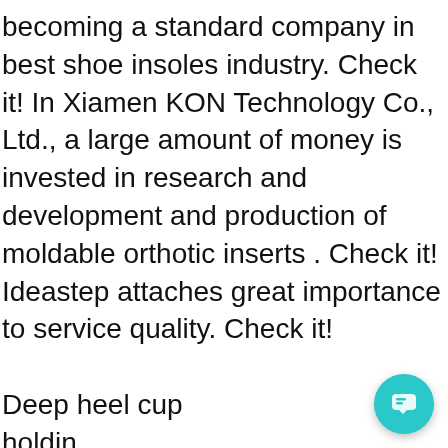becoming a standard company in best shoe insoles industry. Check it! In Xiamen KON Technology Co., Ltd., a large amount of money is invested in research and development and production of moldable orthotic inserts . Check it! Ideastep attaches great importance to service quality. Check it!

Deep heel cup holdin perfectly.Unfinished b heatgun or oven at 12... arch support.Horizontal bottom improving balance and stability.
[Figure (screenshot): Chat popup widget with FASTE logo, close button, and message: 'Hello, We are orthotic insoles & orthopedic shoes , socks & EVA milling blocks supplier, May I know your interested products?']